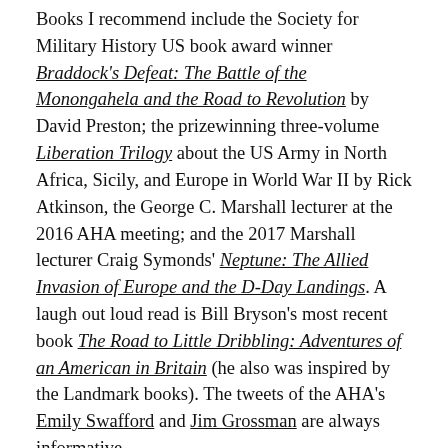Books I recommend include the Society for Military History US book award winner Braddock's Defeat: The Battle of the Monongahela and the Road to Revolution by David Preston; the prizewinning three-volume Liberation Trilogy about the US Army in North Africa, Sicily, and Europe in World War II by Rick Atkinson, the George C. Marshall lecturer at the 2016 AHA meeting; and the 2017 Marshall lecturer Craig Symonds' Neptune: The Allied Invasion of Europe and the D-Day Landings. A laugh out loud read is Bill Bryson's most recent book The Road to Little Dribbling: Adventures of an American in Britain (he also was inspired by the Landmark books). The tweets of the AHA's Emily Swafford and Jim Grossman are always informative.
What do you value most about the history profession? The history profession has given me the opportunity to profess at a community college, undergraduate institutions, and graduate schools in